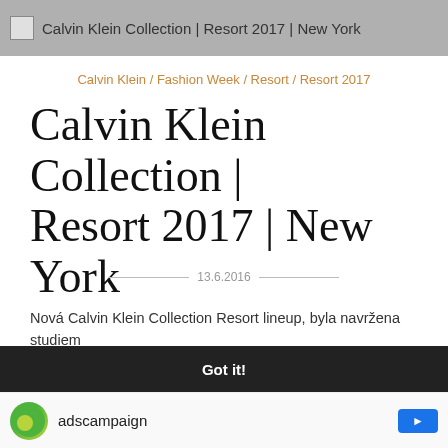Calvin Klein Collection | Resort 2017 | New York
Calvin Klein / Fashion Week / Resort / Resort 2017
Calvin Klein Collection | Resort 2017 | New York
13.6.2016
Nová Calvin Klein Collection Resort lineup, byla navržena studiem
10
This website uses cookies to ensure you get the best experience on our website.
Learn more
Got it!
adscampaign